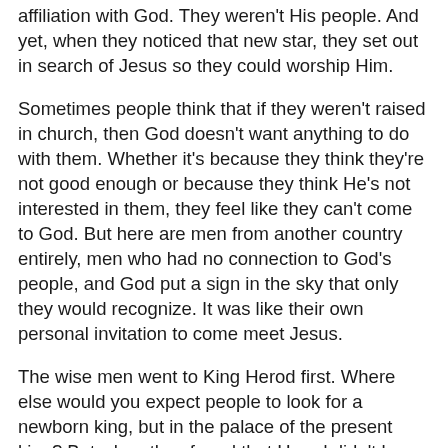affiliation with God. They weren't His people. And yet, when they noticed that new star, they set out in search of Jesus so they could worship Him.
Sometimes people think that if they weren't raised in church, then God doesn't want anything to do with them. Whether it's because they think they're not good enough or because they think He's not interested in them, they feel like they can't come to God. But here are men from another country entirely, men who had no connection to God's people, and God put a sign in the sky that only they would recognize. It was like their own personal invitation to come meet Jesus.
The wise men went to King Herod first. Where else would you expect people to look for a newborn king, but in the palace of the present king? But when they found that Herod didn't have a new son, they continued their search. "After this interview the wise men went their way. And the star they had seen in the east guided them to Bethlehem. It went ahead of them and stopped over the place where the child was. When they saw the star, they were filled with joy! They entered the house and saw the child with his mother, Mary, and they bowed down and worshiped him. Then they opened...